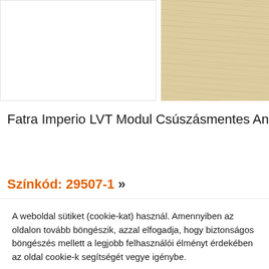[Figure (photo): Wood texture / flooring product swatch image in beige/cream tones, partially visible on right side]
Fatra Imperio LVT Modul Csúszásmentes Antisztatikus An
Színkód: 29507-1 »
A weboldal sütiket (cookie-kat) használ. Amennyiben az oldalon tovább böngészik, azzal elfogadja, hogy biztonságos böngészés mellett a legjobb felhasználói élményt érdekében az oldal cookie-k segítségét vegye igénybe.